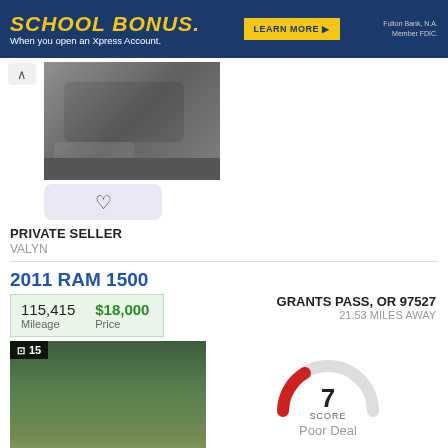[Figure (screenshot): School bonus advertisement banner for Fulton Bank Xpress Account with yellow text and Learn More button]
[Figure (photo): Partial photo of a silver/gray SUV or truck, top listing]
PRIVATE SELLER
VALYN
2011 RAM 1500
| Mileage | Price |
| --- | --- |
| 115,415 | $18,000 |
GRANTS PASS, OR 97527
21.53 MILES AWAY
[Figure (photo): Photo of a blue RAM 1500 pickup truck parked in a lot with trees in background, photo count badge showing 15]
[Figure (other): Semicircular gauge/score meter showing score of 7, labeled SCORE with Poor Deal text below]
PRIVATE SELLER
KATHI
2014 Infiniti QX60